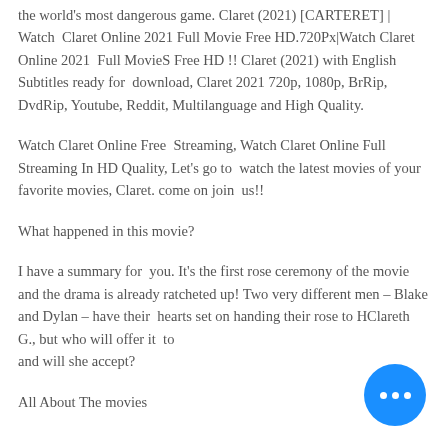the world's most dangerous game. Claret (2021) [CARTERET] | Watch  Claret Online 2021 Full Movie Free HD.720Px|Watch Claret Online 2021  Full MovieS Free HD !! Claret (2021) with English Subtitles ready for  download, Claret 2021 720p, 1080p, BrRip, DvdRip, Youtube, Reddit, Multilanguage and High Quality.
Watch Claret Online Free  Streaming, Watch Claret Online Full Streaming In HD Quality, Let's go to  watch the latest movies of your favorite movies, Claret. come on join  us!!
What happened in this movie?
I have a summary for  you. It's the first rose ceremony of the movie and the drama is already ratcheted up! Two very different men – Blake and Dylan – have their  hearts set on handing their rose to HClareth G., but who will offer it  to her and will she accept?
All About The movies